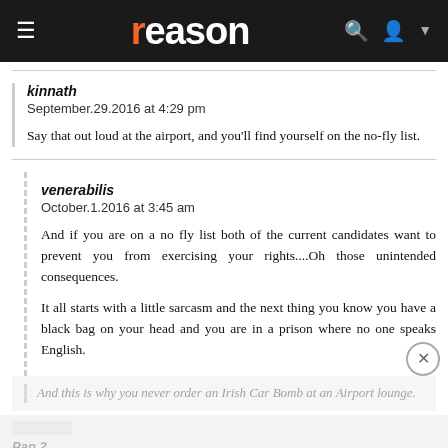reason
kinnath
September.29.2016 at 4:29 pm

Say that out loud at the airport, and you'll find yourself on the no-fly list.
venerabilis
October.1.2016 at 3:45 am

And if you are on a no fly list both of the current candidates want to prevent you from exercising your rights....Oh those unintended consequences.

It all starts with a little sarcasm and the next thing you know you have a black bag on your head and you are in a prison where no one speaks English.
And this is why you never order an Irish Car Bomb at an Airport lounge.
Pan 2
September.29.2016 at 4:29 pm